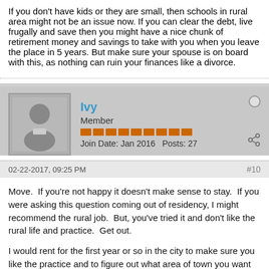If you don't have kids or they are small, then schools in rural area might not be an issue now. If you can clear the debt, live frugally and save then you might have a nice chunk of retirement money and savings to take with you when you leave the place in 5 years. But make sure your spouse is on board with this, as nothing can ruin your finances like a divorce.
Ivy
Member
Join Date: Jan 2016    Posts: 27
02-22-2017, 09:25 PM
#10
Move.  If you're not happy it doesn't make sense to stay.  If you were asking this question coming out of residency, I might recommend the rural job.  But, you've tried it and don't like the rural life and practice.  Get out.

I would rent for the first year or so in the city to make sure you like the practice and to figure out what area of town you want to live in.  Don't be in a big hurry to buy.